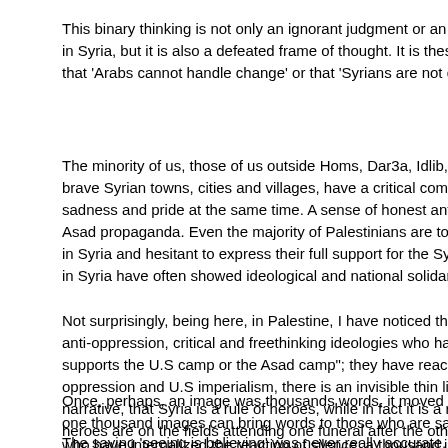This binary thinking is not only an ignorant judgment or an uninformed framing of the situation in Syria, but it is also a defeated frame of thought. It is these internalized sentiments that 'Arabs cannot handle change' or that 'Syrians are not capable of leading a revolution'.
The minority of us, those of us outside Homs, Dar3a, Idlib, Hama and the longer list of brave Syrian towns, cities and villages, have a critical complicated humanitarian sadness and pride at the same time. A sense of honest anti-imperialist ideals as opposed to Asad propaganda. Even the majority of Palestinians are torn about their support for people in Syria and hesitant to express their full support for the Syrian people, while those in Syria have often showed ideological and national solidarity with people in Palestine.
Not surprisingly, being here, in Palestine, I have noticed that it is mostly people with anti-oppression, critical and freethinking ideologies who have broken this binary of 'either supports the U.S camp or the Asad camp'; they have reached a conclusion that between oppression and U.S imperialism, there is an invisible thin line or a lie. A lie, a hegemonic narrative, that Syria is a rule of heroes, while in fact it is a rule of the defeated heroes. The heroes are on the fields attending one funeral after the other of men, women, and children. Sometimes whole families are killed by political suffocation.
Once, perhaps, an image was thousands words, it moved people to the streets. Now, not one thousand images can bring words to those who are sadly defeated from inside, those who have internalized the reaction of silence: a thousand images are worth zero words.
The saying 'seeing is believing' was never really accurate. People come with a f